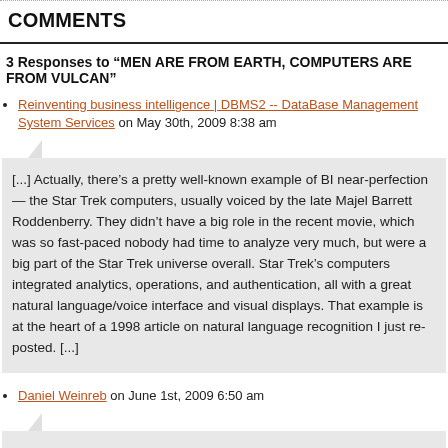COMMENTS
3 Responses to “MEN ARE FROM EARTH, COMPUTERS ARE FROM VULCAN”
Reinventing business intelligence | DBMS2 -- DataBase Management System Services on May 30th, 2009 8:38 am
[...] Actually, there’s a pretty well-known example of BI near-perfection — the Star Trek computers, usually voiced by the late Majel Barrett Roddenberry. They didn’t have a big role in the recent movie, which was so fast-paced nobody had time to analyze very much, but were a big part of the Star Trek universe overall. Star Trek’s computers integrated analytics, operations, and authentication, all with a great natural language/voice interface and visual displays. That example is at the heart of a 1998 article on natural language recognition I just re-posted. [...]
Daniel Weinreb on June 1st, 2009 6:50 am
Curt,